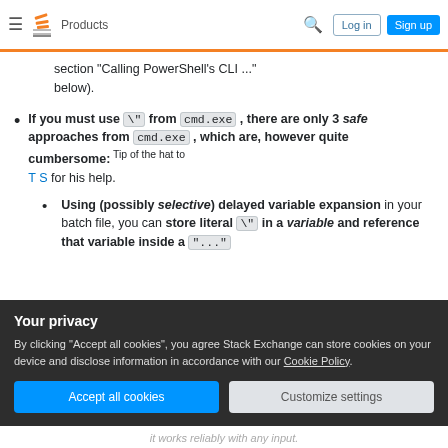Stack Overflow — Products | Log in | Sign up
section "Calling PowerShell's CLI ..." below).
If you must use \" from cmd.exe , there are only 3 safe approaches from cmd.exe , which are, however quite cumbersome: Tip of the hat to T S for his help.
Using (possibly selective) delayed variable expansion in your batch file, you can store literal \" in a variable and reference that variable inside a "..."
Your privacy
By clicking "Accept all cookies", you agree Stack Exchange can store cookies on your device and disclose information in accordance with our Cookie Policy.
it works reliably with any input.